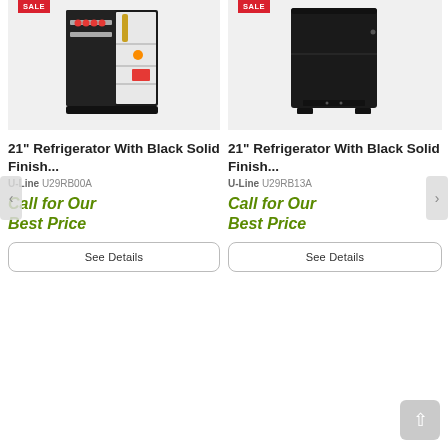[Figure (photo): Open mini refrigerator with black exterior, stocked with cans and a wine bottle]
21" Refrigerator With Black Solid Finish...
U-Line U29RB00A
Call for Our Best Price
See Details
[Figure (photo): Closed mini refrigerator with black solid finish, front-facing view]
21" Refrigerator With Black Solid Finish...
U-Line U29RB13A
Call for Our Best Price
See Details